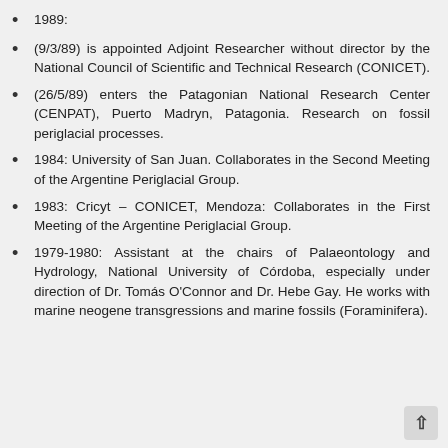1989:
(9/3/89) is appointed Adjoint Researcher without director by the National Council of Scientific and Technical Research (CONICET).
(26/5/89) enters the Patagonian National Research Center (CENPAT), Puerto Madryn, Patagonia. Research on fossil periglacial processes.
1984: University of San Juan. Collaborates in the Second Meeting of the Argentine Periglacial Group.
1983: Cricyt – CONICET, Mendoza: Collaborates in the First Meeting of the Argentine Periglacial Group.
1979-1980: Assistant at the chairs of Palaeontology and Hydrology, National University of Córdoba, especially under direction of Dr. Tomás O'Connor and Dr. Hebe Gay. He works with marine neogene transgressions and marine fossils (Foraminifera).